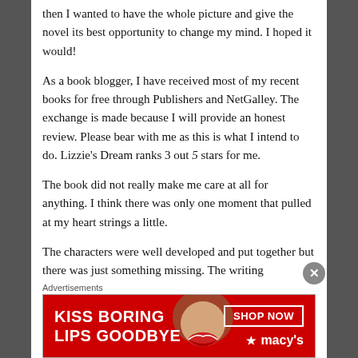then I wanted to have the whole picture and give the novel its best opportunity to change my mind. I hoped it would!
As a book blogger, I have received most of my recent books for free through Publishers and NetGalley. The exchange is made because I will provide an honest review. Please bear with me as this is what I intend to do. Lizzie's Dream ranks 3 out 5 stars for me.
The book did not really make me care at all for anything. I think there was only one moment that pulled at my heart strings a little.
The characters were well developed and put together but there was just something missing. The writing throughout the entire novel is mostly all telling and no showing. Nothing was strong
Advertisements
[Figure (other): Macy's advertisement banner: red background with woman's face showing lips, text 'KISS BORING LIPS GOODBYE', 'SHOP NOW' button, and Macy's star logo]